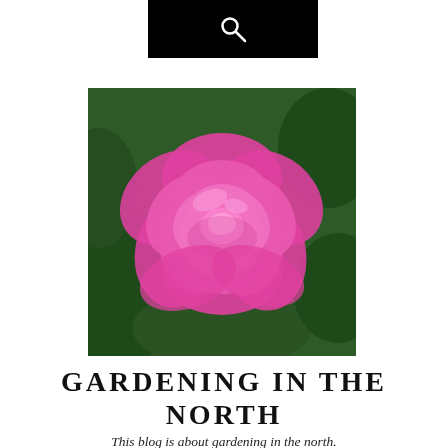🔍
[Figure (photo): A bright pink rose in full bloom with green leaves in the background.]
GARDENING IN THE NORTH
This blog is about gardening in the north.
Privacy & Cookies: This site uses cookies. By continuing to use this website, you agree to their use.
To find out more, including how to control cookies, see here: Cookie Policy
Close and accept